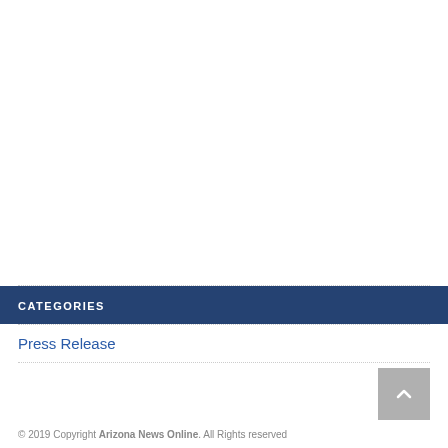CATEGORIES
Press Release
© 2019 Copyright Arizona News Online. All Rights reserved